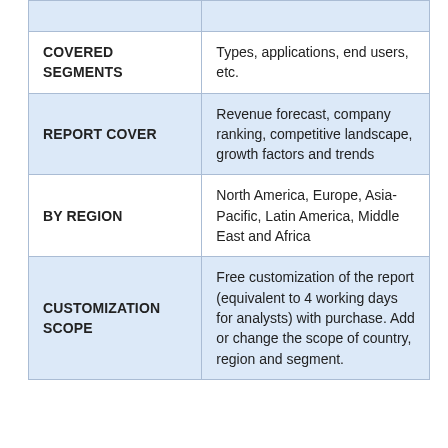|  |  |
| --- | --- |
| COVERED SEGMENTS | Types, applications, end users, etc. |
| REPORT COVER | Revenue forecast, company ranking, competitive landscape, growth factors and trends |
| BY REGION | North America, Europe, Asia-Pacific, Latin America, Middle East and Africa |
| CUSTOMIZATION SCOPE | Free customization of the report (equivalent to 4 working days for analysts) with purchase. Add or change the scope of country, region and segment. |